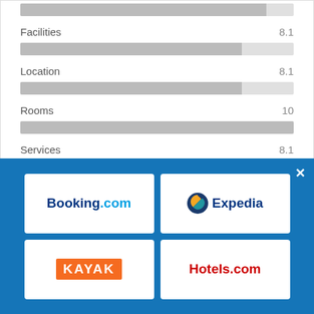[Figure (bar-chart): Rating bars]
Who stays here?
[Figure (logo): Logos of Booking.com, Expedia, KAYAK, and Hotels.com on a blue background overlay]